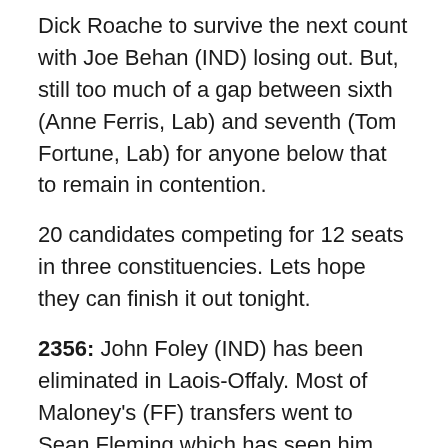Dick Roache to survive the next count with Joe Behan (IND) losing out. But, still too much of a gap between sixth (Anne Ferris, Lab) and seventh (Tom Fortune, Lab) for anyone below that to remain in contention.
20 candidates competing for 12 seats in three constituencies. Lets hope they can finish it out tonight.
2356: John Foley (IND) has been eliminated in Laois-Offaly. Most of Maloney's (FF) transfers went to Sean Fleming which has seen him soar into fifth place ahead of Labour's John Whelan, with room to spare. With only six candidates left for five seats, the next elimination will end it and Fianna Fail look like they're taking two seats.
The distribution of Roache's surplus has led to the elimination of Tom Fortune (LAB) in Wicklow. Fortune's